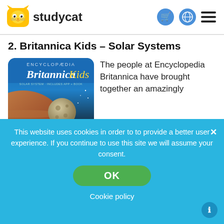studycat
2. Britannica Kids – Solar Systems
[Figure (illustration): Book cover of Encyclopaedia Britannica Kids featuring a planet and moon against a dark space background]
The people at Encyclopedia Britannica have brought together an amazingly
This website uses cookies in order to to provide a better user experience. If you continue to use this site we will assume your consent.
OK
Cookie policy